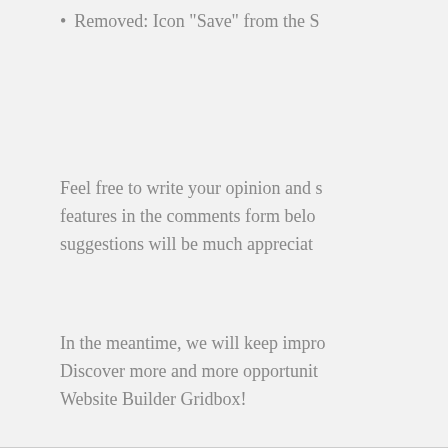Removed: Icon "Save" from the S
Feel free to write your opinion and s features in the comments form belo suggestions will be much appreciate
In the meantime, we will keep impro Discover more and more opportunit Website Builder Gridbox!